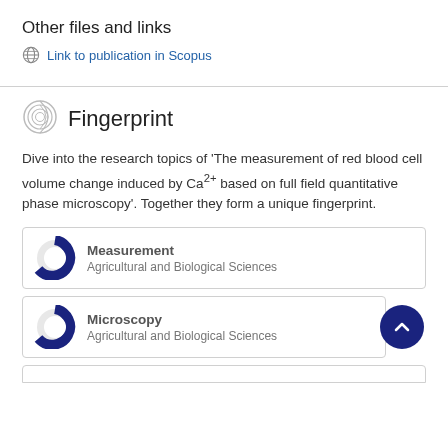Other files and links
Link to publication in Scopus
Fingerprint
Dive into the research topics of 'The measurement of red blood cell volume change induced by Ca2+ based on full field quantitative phase microscopy'. Together they form a unique fingerprint.
Measurement
Agricultural and Biological Sciences
Microscopy
Agricultural and Biological Sciences